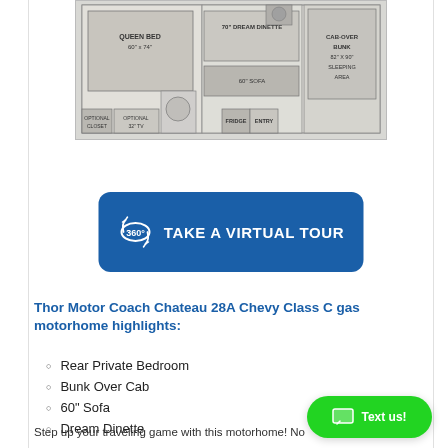[Figure (illustration): Floor plan of Thor Motor Coach Chateau 28A showing Queen Bed 60x74, Optional Closet, Optional 32TV, Fridge, Entry, 70 Dream Dinette, 60 Sofa, Cab-Over Bunk 82x90 Sleeping Area]
[Figure (other): Blue rounded button with 360° icon and text TAKE A VIRTUAL TOUR]
Thor Motor Coach Chateau 28A Chevy Class C gas motorhome highlights:
Rear Private Bedroom
Bunk Over Cab
60" Sofa
Dream Dinette
Step up your traveling game with this motorhome! No